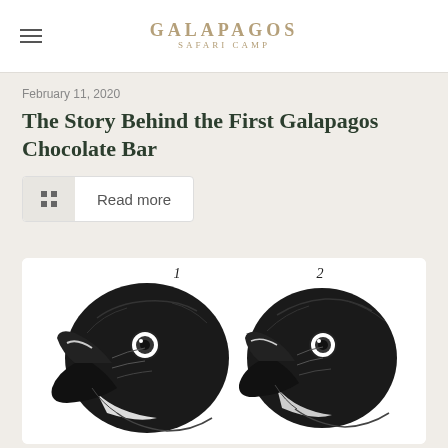GALAPAGOS SAFARI CAMP
February 11, 2020
The Story Behind the First Galapagos Chocolate Bar
Read more
[Figure (illustration): Scientific illustration of two Galapagos finch heads in black and white, labeled 1 and 2, showing different beak shapes.]
December 6, 2018